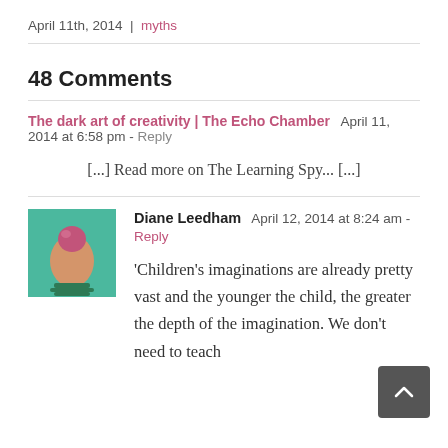April 11th, 2014 | myths
48 Comments
The dark art of creativity | The Echo Chamber  April 11, 2014 at 6:58 pm - Reply
[...] Read more on The Learning Spy... [...]
Diane Leedham  April 12, 2014 at 8:24 am - Reply
'Children's imaginations are already pretty vast and the younger the child, the greater the depth of the imagination. We don't need to teach